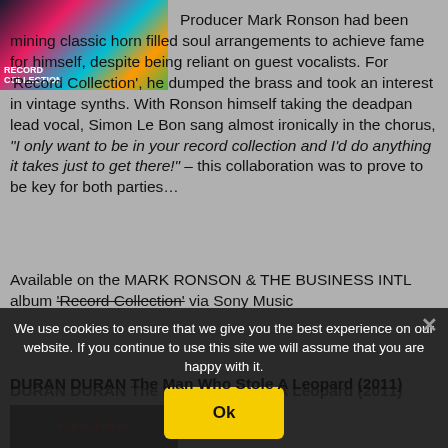[Figure (photo): Album cover for Record Collection by Mark Ronson, colorful design with a face partially visible]
Producer Mark Ronson had been mining classic horn filled soul arrangements to achieve fame for himself, despite being reliant on guest vocalists. For 'Record Collection', he dumped the brass and took an interest in vintage synths. With Ronson himself taking the deadpan lead vocal, Simon Le Bon sang almost ironically in the chorus, "I only want to be in your record collection and I'd do anything it takes just to get there!" – this collaboration was to prove to be key for both parties…
Available on the MARK RONSON & THE BUSINESS INTL album 'Record Collection' via Sony Music
We use cookies to ensure that we give you the best experience on our website. If you continue to use this site we will assume that you are happy with it.
DURAN DURAN The Man Who Stole A Leopard (2011)
[Figure (photo): Album/single cover for Duran Duran showing dark background with red text]